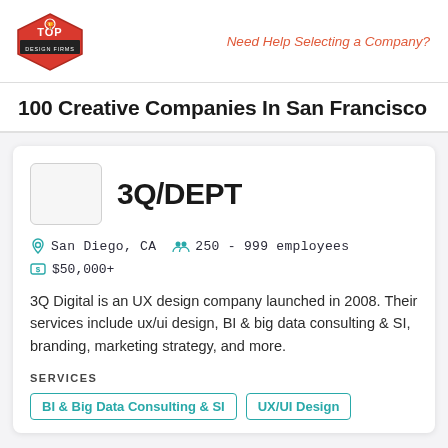TOP DESIGN FIRMS | Need Help Selecting a Company?
100 Creative Companies In San Francisco
3Q/DEPT
San Diego, CA  250 - 999 employees  $50,000+
3Q Digital is an UX design company launched in 2008. Their services include ux/ui design, BI & big data consulting & SI, branding, marketing strategy, and more.
SERVICES
BI & Big Data Consulting & SI
UX/UI Design